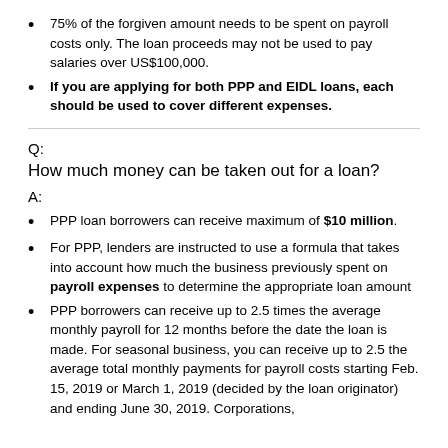75% of the forgiven amount needs to be spent on payroll costs only. The loan proceeds may not be used to pay salaries over US$100,000.
If you are applying for both PPP and EIDL loans, each should be used to cover different expenses.
Q:
How much money can be taken out for a loan?
A:
PPP loan borrowers can receive maximum of $10 million.
For PPP, lenders are instructed to use a formula that takes into account how much the business previously spent on payroll expenses to determine the appropriate loan amount
PPP borrowers can receive up to 2.5 times the average monthly payroll for 12 months before the date the loan is made. For seasonal business, you can receive up to 2.5 the average total monthly payments for payroll costs starting Feb. 15, 2019 or March 1, 2019 (decided by the loan originator) and ending June 30, 2019. Corporations,